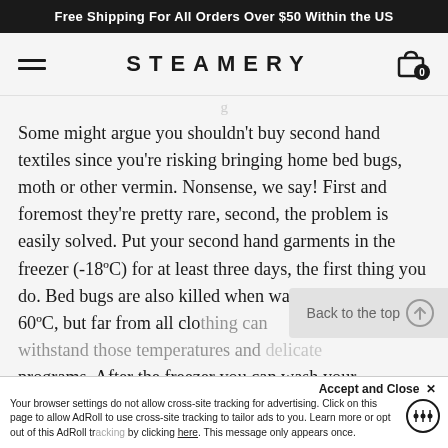Free Shipping For All Orders Over $50 Within the US
STEAMERY
Some might argue you shouldn't buy second hand textiles since you're risking bringing home bed bugs, moth or other vermin. Nonsense, we say! First and foremost they're pretty rare, second, the problem is easily solved. Put your second hand garments in the freezer (-18ºC) for at least three days, the first thing you do. Bed bugs are also killed when washing in minimum 60ºC, but far from all clothes can withstand those temperatures and delicate programs. After the freezer you can wash your garments according to the instructions, p
Back to the top
Accept and Close ✕
Your browser settings do not allow cross-site tracking for advertising. Click on this page to allow AdRoll to use cross-site tracking to tailor ads to you. Learn more or opt out of this AdRoll tracking by clicking here. This message only appears once.